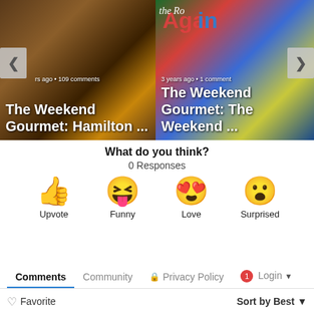[Figure (screenshot): Two related article cards in a carousel. Left card shows a food photo with text 'rs ago • 109 comments' and title 'The Weekend Gourmet: Hamilton ...'. Right card shows a colorful graphic with text '3 years ago • 1 comment' and title 'The Weekend Gourmet: The Weekend ...' Navigation arrows on left and right sides.]
What do you think?
0 Responses
[Figure (infographic): Four emoji reaction buttons: thumbs up (Upvote), laughing face with tongue (Funny), heart eyes (Love), surprised face (Surprised)]
Comments  Community  Privacy Policy  Login
Favorite  Sort by Best